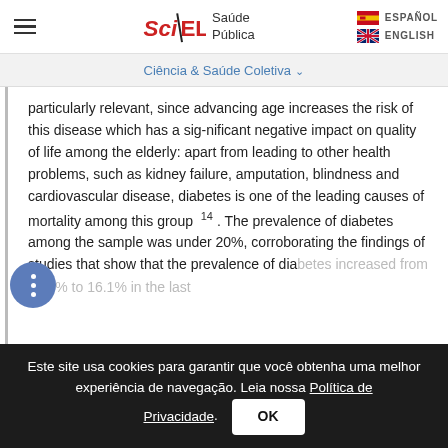SciELO Saúde Pública | ESPAÑOL | ENGLISH
Ciência & Saúde Coletiva
particularly relevant, since advancing age increases the risk of this disease which has a significant negative impact on quality of life among the elderly: apart from leading to other health problems, such as kidney failure, amputation, blindness and cardiovascular disease, diabetes is one of the leading causes of mortality among this group 14 . The prevalence of diabetes among the sample was under 20%, corroborating the findings of studies that show that the prevalence of diabetes increased from 10.3% to 16.1% in the last
Este site usa cookies para garantir que você obtenha uma melhor experiência de navegação. Leia nossa Política de Privacidade.